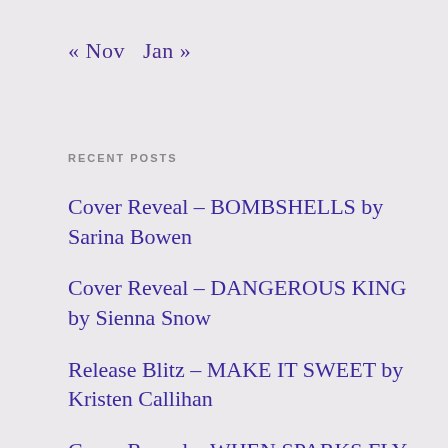« Nov   Jan »
RECENT POSTS
Cover Reveal – BOMBSHELLS by Sarina Bowen
Cover Reveal – DANGEROUS KING by Sienna Snow
Release Blitz – MAKE IT SWEET by Kristen Callihan
Cover Reveal – WHEN SPARKS FLY by Helena Hunting